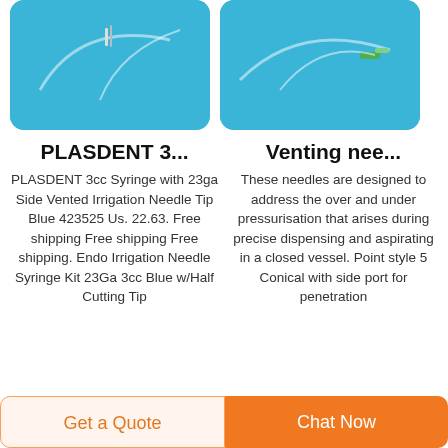[Figure (photo): PLASDENT syringe product on blue background]
[Figure (photo): Venting needle product on blue background]
PLASDENT 3...
Venting nee...
PLASDENT 3cc Syringe with 23ga Side Vented Irrigation Needle Tip Blue 423525 Us. 22.63. Free shipping Free shipping Free shipping. Endo Irrigation Needle Syringe Kit 23Ga 3cc Blue w/Half Cutting Tip
These needles are designed to address the over and under pressurisation that arises during precise dispensing and aspirating in a closed vessel. Point style 5 Conical with side port for penetration
Get a Quote
Chat Now